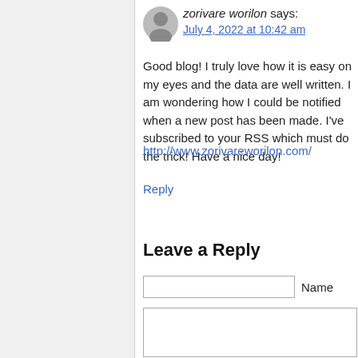[Figure (illustration): User avatar placeholder icon (grey circle with person silhouette)]
zorivare worilon says:
July 4, 2022 at 10:42 am
Good blog! I truly love how it is easy on my eyes and the data are well written. I am wondering how I could be notified when a new post has been made. I've subscribed to your RSS which must do the trick! Have a nice day!
http://www.zorivareworilon.com/
Reply
Leave a Reply
Name